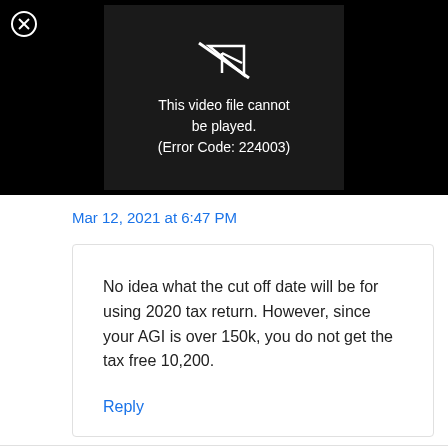[Figure (screenshot): Video player showing error: black background with a broken video icon and text 'This video file cannot be played. (Error Code: 224003)'. A close button (circled X) is in the top left.]
Mar 12, 2021 at 6:47 PM
No idea what the cut off date will be for using 2020 tax return. However, since your AGI is over 150k, you do not get the tax free 10,200.
Reply
Dee